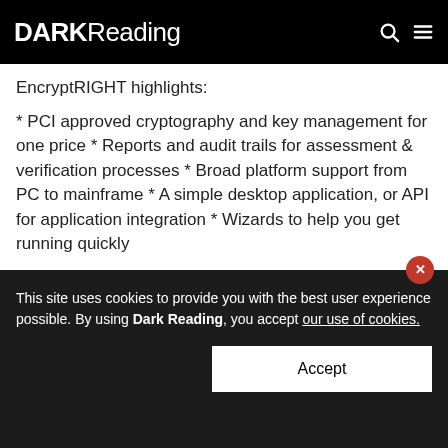DARKReading
EncryptRIGHT highlights:
* PCI approved cryptography and key management for one price * Reports and audit trails for assessment & verification processes * Broad platform support from PC to mainframe * A simple desktop application, or API for application integration * Wizards to help you get running quickly
###
About Prime Factors, Inc. Since 1981, Prime Factors has
This site uses cookies to provide you with the best user experience possible. By using Dark Reading, you accept our use of cookies.